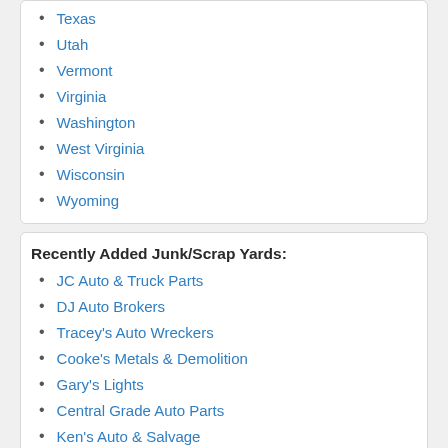Texas
Utah
Vermont
Virginia
Washington
West Virginia
Wisconsin
Wyoming
Recently Added Junk/Scrap Yards:
JC Auto & Truck Parts
DJ Auto Brokers
Tracey's Auto Wreckers
Cooke's Metals & Demolition
Gary's Lights
Central Grade Auto Parts
Ken's Auto & Salvage
Formel Motor Company, Inc.